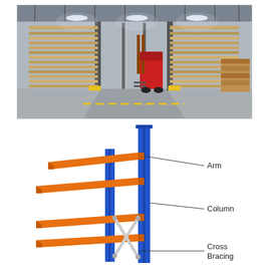[Figure (photo): Warehouse interior with cantilever racking system storing long materials (lumber/boards) on both sides, a red forklift visible in the center aisle, fluorescent lighting overhead, concrete floor.]
[Figure (engineering-diagram): Labeled engineering diagram of cantilever rack components: blue vertical columns with orange horizontal arms extending to the left at multiple levels, and white/light cross bracing at the base. Labels point to: Arm, Column, Cross Bracing.]